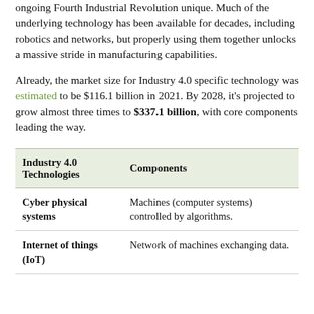ongoing Fourth Industrial Revolution unique. Much of the underlying technology has been available for decades, including robotics and networks, but properly using them together unlocks a massive stride in manufacturing capabilities.
Already, the market size for Industry 4.0 specific technology was estimated to be $116.1 billion in 2021. By 2028, it's projected to grow almost three times to $337.1 billion, with core components leading the way.
| Industry 4.0 Technologies | Components |
| --- | --- |
| Cyber physical systems | Machines (computer systems) controlled by algorithms. |
| Internet of things (IoT) | Network of machines exchanging data. |